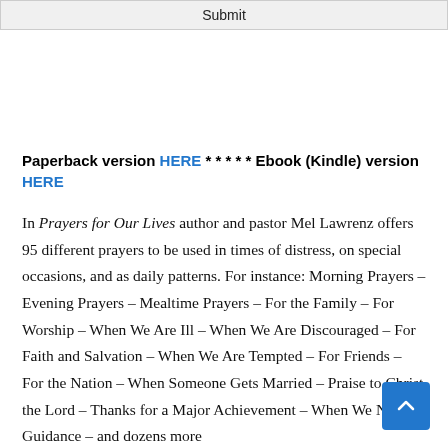Submit
Paperback version HERE * * * * * Ebook (Kindle) version HERE
In Prayers for Our Lives author and pastor Mel Lawrenz offers 95 different prayers to be used in times of distress, on special occasions, and as daily patterns. For instance: Morning Prayers – Evening Prayers – Mealtime Prayers – For the Family – For Worship – When We Are Ill – When We Are Discouraged – For Faith and Salvation – When We Are Tempted – For Friends – For the Nation – When Someone Gets Married – Praise to Christ the Lord – Thanks for a Major Achievement – When We Need Guidance – and dozens more